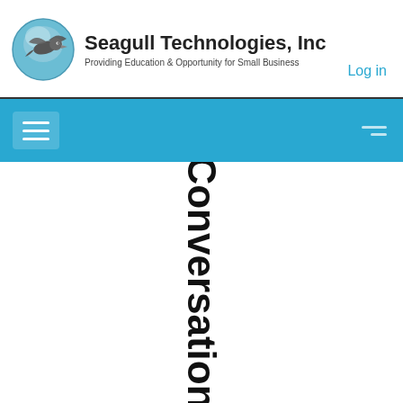[Figure (logo): Seagull Technologies Inc. logo with seagull in blue circle and company name and tagline]
Log in
[Figure (screenshot): Blue navigation bar with hamburger menu icon on left and mini menu icon on right]
Conversation